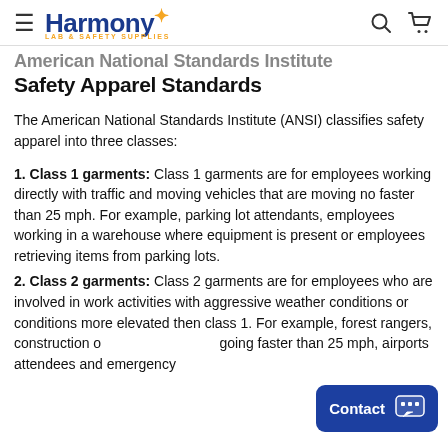Harmony LAB & SAFETY SUPPLIES
American National Standards Institute Safety Apparel Standards
The American National Standards Institute (ANSI) classifies safety apparel into three classes:
1. Class 1 garments: Class 1 garments are for employees working directly with traffic and moving vehicles that are moving no faster than 25 mph. For example, parking lot attendants, employees working in a warehouse where equipment is present or employees retrieving items from parking lots.
2. Class 2 garments: Class 2 garments are for employees who are involved in work activities with aggressive weather conditions or conditions more elevated then class 1. For example, forest rangers, construction or workers with vehicles going faster than 25 mph, airports attendees and emergency...